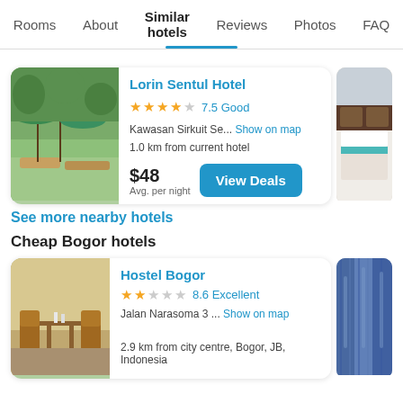Rooms | About | Similar hotels | Reviews | Photos | FAQ
Lorin Sentul Hotel
★★★★☆ 7.5 Good
Kawasan Sirkuit Se... Show on map
1.0 km from current hotel
$48 Avg. per night
See more nearby hotels
Cheap Bogor hotels
Hostel Bogor
★★☆☆☆ 8.6 Excellent
Jalan Narasoma 3 ... Show on map
2.9 km from city centre, Bogor, JB, Indonesia